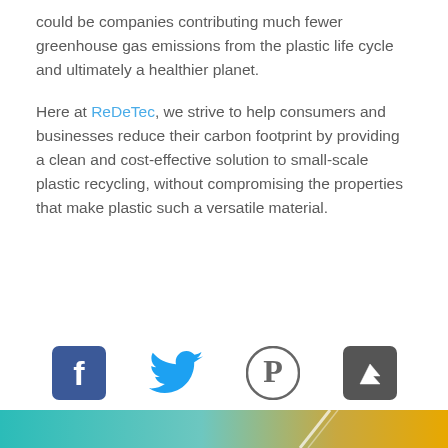could be companies contributing much fewer greenhouse gas emissions from the plastic life cycle and ultimately a healthier planet.
Here at ReDeTec, we strive to help consumers and businesses reduce their carbon footprint by providing a clean and cost-effective solution to small-scale plastic recycling, without compromising the properties that make plastic such a versatile material.
[Figure (illustration): Social media icons row: Facebook, Twitter, Pinterest, and a product/app icon (dark square with leaf/flag symbol)]
[Figure (illustration): Footer gradient bar transitioning from teal/blue on the left to golden yellow on the right, with a white diagonal slash near center-right]